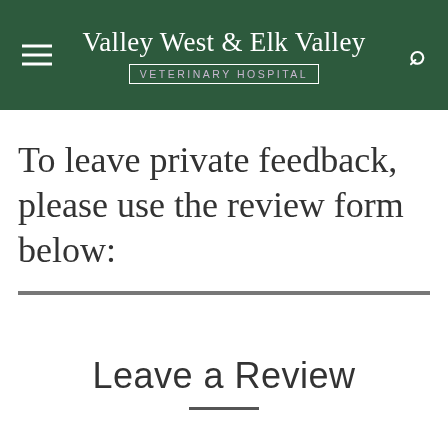Valley West & Elk Valley VETERINARY HOSPITAL
To leave private feedback, please use the review form below:
Leave a Review